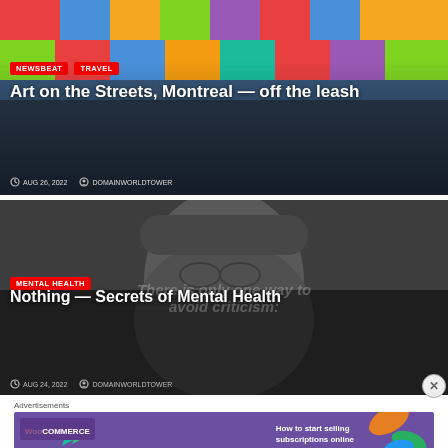[Figure (photo): Colorful street art mural on building wall, Montreal]
NEWSBEAT
TRAVEL
Art on the Streets, Montreal — off the leash
AUG 26, 2022   DOMAINWORLDTOWER
[Figure (photo): Grayscale bust/sculpture of a person with glasses, mental health themed]
MENTAL HEALTH
Nothing — Secrets of Mental Health
AUG 24, 2022   DOMAINWORLDTOWER
Advertisements
[Figure (screenshot): WooCommerce advertisement banner: How to start selling subscriptions online]